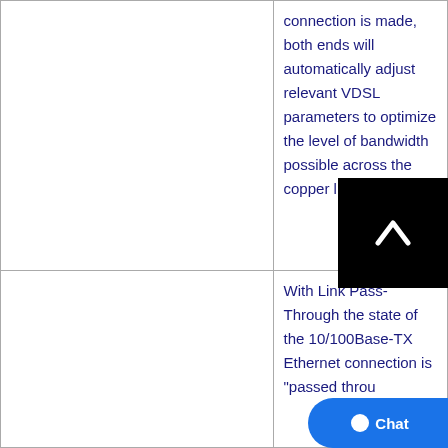|  | connection is made, both ends will automatically adjust relevant VDSL parameters to optimize the level of bandwidth possible across the copper link. |
|  | With Link Pass-Through the state of the 10/100Base-TX Ethernet connection is "passed through" to the VDSL link. |